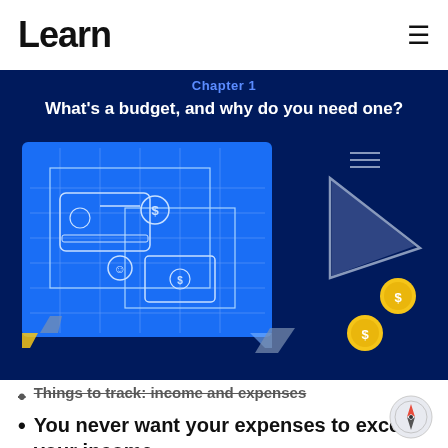Learn
Chapter 1
What's a budget, and why do you need one?
[Figure (illustration): Blueprint-style illustration of financial documents: credit card, coins, and money on a bright blue grid background, with geometric shapes and gold coins floating in dark navy background]
Things to track: income and expenses
You never want your expenses to exceed your income
1 min read